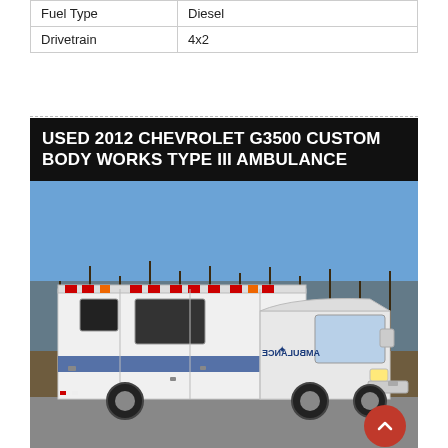|  |  |
| --- | --- |
| Fuel Type | Diesel |
| Drivetrain | 4x2 |
USED 2012 CHEVROLET G3500 CUSTOM BODY WORKS TYPE III AMBULANCE
[Figure (photo): White 2012 Chevrolet G3500 Custom Body Works Type III ambulance parked on pavement, with blue stripe along the side, emergency lights on roof, and bare trees and blue sky in background.]